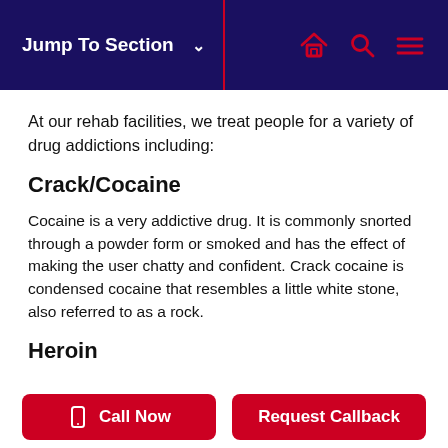Jump To Section ∨
At our rehab facilities, we treat people for a variety of drug addictions including:
Crack/Cocaine
Cocaine is a very addictive drug. It is commonly snorted through a powder form or smoked and has the effect of making the user chatty and confident. Crack cocaine is condensed cocaine that resembles a little white stone, also referred to as a rock.
Heroin
Call Now
Request Callback